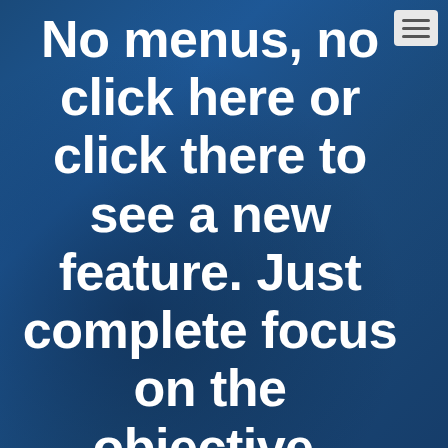[Figure (illustration): Dark blue textured background resembling a cloudy or misty scene, serving as backdrop for large white text]
No menus, no click here or click there to see a new feature. Just complete focus on the objective.